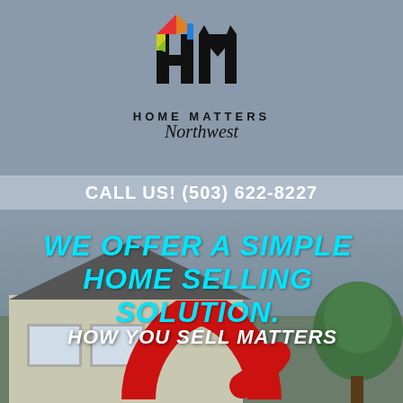[Figure (logo): Home Matters Northwest logo with colorful HM icon (house shape in red/orange/yellow/green/blue) above text HOME MATTERS in bold black capitals and Northwest in script/italic]
CALL US! (503) 622-8227
[Figure (photo): Background photo of a house exterior with gray sky, green tree on right, and a red abstract sculpture in the foreground at the bottom]
WE OFFER A SIMPLE HOME SELLING SOLUTION.
HOW YOU SELL MATTERS